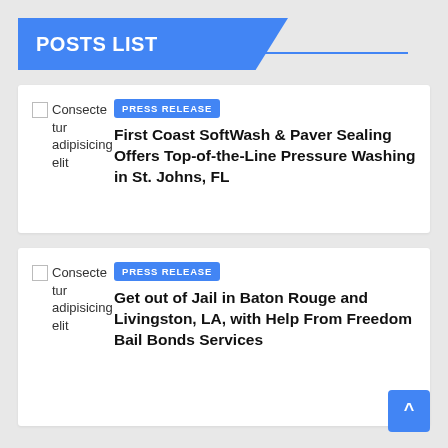POSTS LIST
Consecte tur adipisicing elit | PRESS RELEASE | First Coast SoftWash & Paver Sealing Offers Top-of-the-Line Pressure Washing in St. Johns, FL
Consecte tur adipisicing elit | PRESS RELEASE | Get out of Jail in Baton Rouge and Livingston, LA, with Help From Freedom Bail Bonds Services